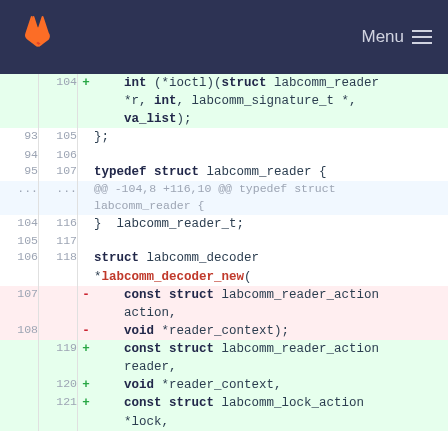GitLab — Menu
[Figure (screenshot): Code diff view showing changes to labcomm_reader struct and labcomm_decoder_new function signature, with added and removed lines highlighted in green and red respectively.]